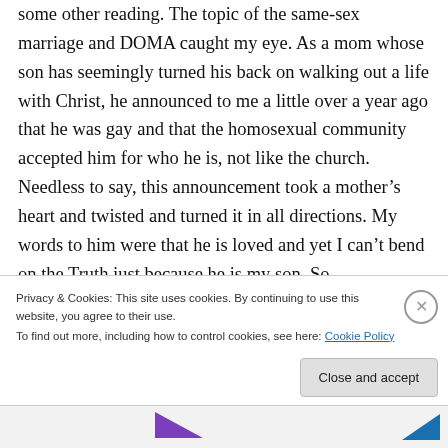some other reading. The topic of the same-sex marriage and DOMA caught my eye. As a mom whose son has seemingly turned his back on walking out a life with Christ, he announced to me a little over a year ago that he was gay and that the homosexual community accepted him for who he is, not like the church. Needless to say, this announcement took a mother's heart and twisted and turned it in all directions. My words to him were that he is loved and yet I can't bend on the Truth just because he is my son. So
Privacy & Cookies: This site uses cookies. By continuing to use this website, you agree to their use.
To find out more, including how to control cookies, see here: Cookie Policy
Close and accept